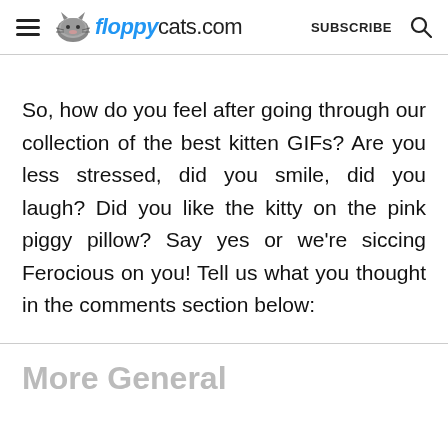floppycats.com | SUBSCRIBE
So, how do you feel after going through our collection of the best kitten GIFs? Are you less stressed, did you smile, did you laugh? Did you like the kitty on the pink piggy pillow? Say yes or we're siccing Ferocious on you! Tell us what you thought in the comments section below:
More General